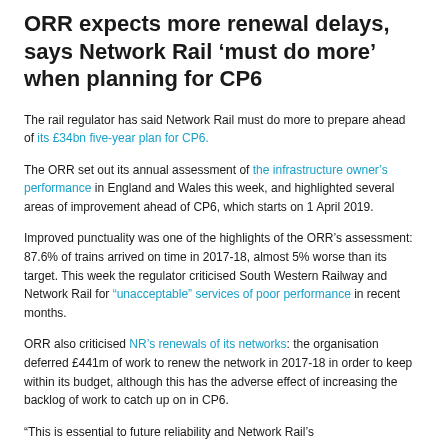ORR expects more renewal delays, says Network Rail ‘must do more’ when planning for CP6
The rail regulator has said Network Rail must do more to prepare ahead of its £34bn five-year plan for CP6.
The ORR set out its annual assessment of the infrastructure owner’s performance in England and Wales this week, and highlighted several areas of improvement ahead of CP6, which starts on 1 April 2019.
Improved punctuality was one of the highlights of the ORR’s assessment: 87.6% of trains arrived on time in 2017-18, almost 5% worse than its target. This week the regulator criticised South Western Railway and Network Rail for “unacceptable” services of poor performance in recent months.
ORR also criticised NR’s renewals of its networks: the organisation deferred £441m of work to renew the network in 2017-18 in order to keep within its budget, although this has the adverse effect of increasing the backlog of work to catch up on in CP6.
“This is essential to future reliability and Network Rail’s